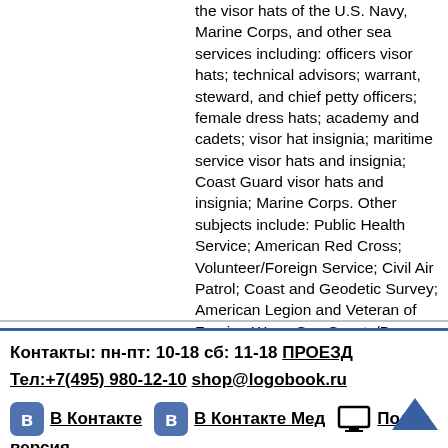the visor hats of the U.S. Navy, Marine Corps, and other sea services including: officers visor hats; technical advisors; warrant, steward, and chief petty officers; female dress hats; academy and cadets; visor hat insignia; maritime service visor hats and insignia; Coast Guard visor hats and insignia; Marine Corps. Other subjects include: Public Health Service; American Red Cross; Volunteer/Foreign Service; Civil Air Patrol; Coast and Geodetic Survey; American Legion and Veteran of Foreign Wars; Sea Scouts/Boy Scouts; childrens visor hats; reproduction hat insignia; and makers logos.
[Figure (other): Heart/favorite button icon]
Контакты: пн-пт: 10-18 сб: 11-18 ПРОЕЗД
Тел:+7(495) 980-12-10 shop@logobook.ru
В Контакте  В Контакте Мед  Полная версия .